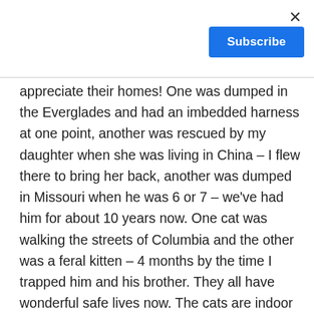[Figure (other): Close button (×) in top right corner of a modal or overlay]
[Figure (other): Blue Subscribe button in top right area]
appreciate their homes! One was dumped in the Everglades and had an imbedded harness at one point, another was rescued by my daughter when she was living in China – I flew there to bring her back, another was dumped in Missouri when he was 6 or 7 – we've had him for about 10 years now. One cat was walking the streets of Columbia and the other was a feral kitten – 4 months by the time I trapped him and his brother. They all have wonderful safe lives now. The cats are indoor cats and the dogs have a fenced in